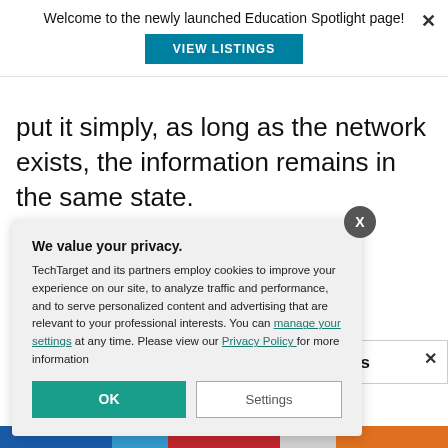Welcome to the newly launched Education Spotlight page!
VIEW LISTINGS
put it simply, as long as the network exists, the information remains in the same state.
cking
t use the
's why new Data
financial
usinesses
Blockchain and
SC Members
We value your privacy.
TechTarget and its partners employ cookies to improve your experience on our site, to analyze traffic and performance, and to serve personalized content and advertising that are relevant to your professional interests. You can manage your settings at any time. Please view our Privacy Policy for more information
OK
Settings